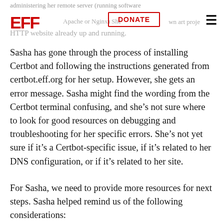administering her remote server (running software Apache or Nginx) She runs her own art project HTTP website already up and running.
Sasha has gone through the process of installing Certbot and following the instructions generated from certbot.eff.org for her setup. However, she gets an error message. Sasha might find the wording from the Certbot terminal confusing, and she’s not sure where to look for good resources on debugging and troubleshooting for her specific errors. She’s not yet sure if it’s a Certbot-specific issue, if it’s related to her DNS configuration, or if it’s related to her site.
For Sasha, we need to provide more resources for next steps. Sasha helped remind us of the following considerations: